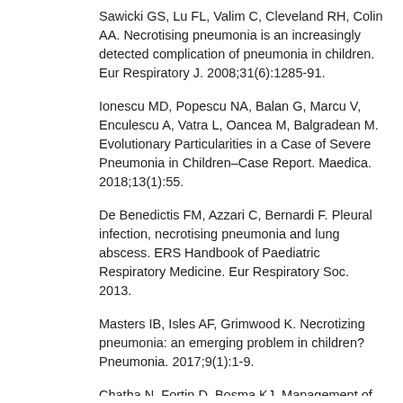Sawicki GS, Lu FL, Valim C, Cleveland RH, Colin AA. Necrotising pneumonia is an increasingly detected complication of pneumonia in children. Eur Respiratory J. 2008;31(6):1285-91.
Ionescu MD, Popescu NA, Balan G, Marcu V, Enculescu A, Vatra L, Oancea M, Balgradean M. Evolutionary Particularities in a Case of Severe Pneumonia in Children–Case Report. Maedica. 2018;13(1):55.
De Benedictis FM, Azzari C, Bernardi F. Pleural infection, necrotising pneumonia and lung abscess. ERS Handbook of Paediatric Respiratory Medicine. Eur Respiratory Soc. 2013.
Masters IB, Isles AF, Grimwood K. Necrotizing pneumonia: an emerging problem in children? Pneumonia. 2017;9(1):1-9.
Chatha N, Fortin D, Bosma KJ. Management of necrotizing pneumonia and pulmonary gangrene: a case series and review of the literature. Canad Respiratory J. 2014;21(4):239-45.